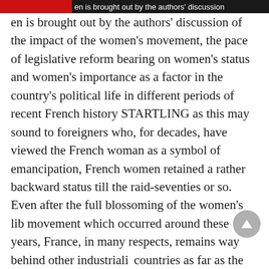en is brought out by the authors' discussion
en is brought out by the authors' discussion of the impact of the women's movement, the pace of legislative reform bearing on women's status and women's importance as a factor in the country's political life in different periods of recent French history STARTLING as this may sound to foreigners who, for decades, have viewed the French woman as a symbol of emancipation, French women retained a rather backward status till the raid-seventies or so. Even after the full blossoming of the women's lib movement which occurred around these years, France, in many respects, remains way behind other industrialized countries as far as the status of women or their public roles are concerned.